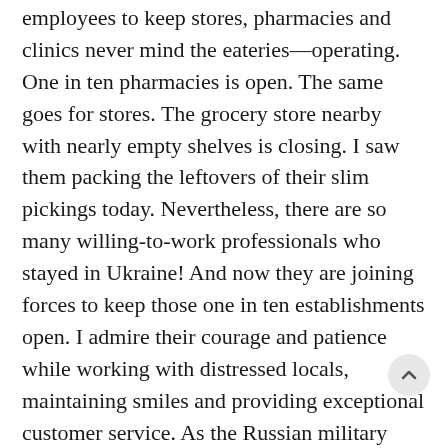employees to keep stores, pharmacies and clinics never mind the eateries—operating. One in ten pharmacies is open. The same goes for stores. The grocery store nearby with nearly empty shelves is closing. I saw them packing the leftovers of their slim pickings today. Nevertheless, there are so many willing-to-work professionals who stayed in Ukraine! And now they are joining forces to keep those one in ten establishments open. I admire their courage and patience while working with distressed locals, maintaining smiles and providing exceptional customer service. As the Russian military unleashes its arsenal throughout the country, the desire for normalcy has not been ripped away.
What I find most remarkable is the resilience of the people here. There are so many volunteers who